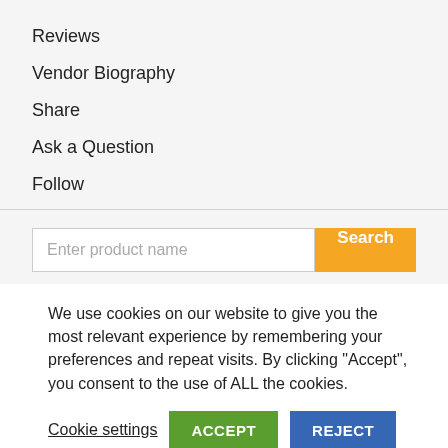Reviews
Vendor Biography
Share
Ask a Question
Follow
[Figure (screenshot): Search input field with placeholder 'Enter product name' and an orange 'Search' button]
We use cookies on our website to give you the most relevant experience by remembering your preferences and repeat visits. By clicking “Accept”, you consent to the use of ALL the cookies.
Cookie settings  ACCEPT  REJECT